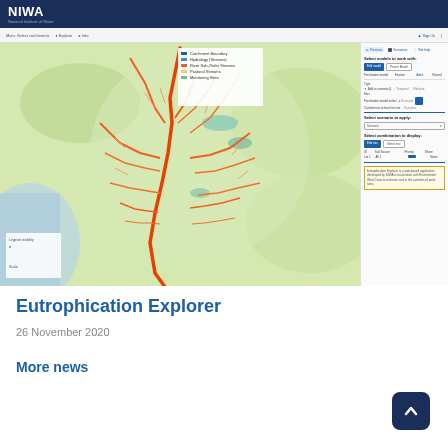NIWA
[Figure (screenshot): Screenshot of the NIWA Eutrophication Explorer web application showing a map of a New Zealand watershed with colored river network overlays (red/orange stream lines on green terrain), a legend panel, and a right-side control panel with options to select models, scenarios, and combinations to display.]
Eutrophication Explorer
26 November 2020
More news